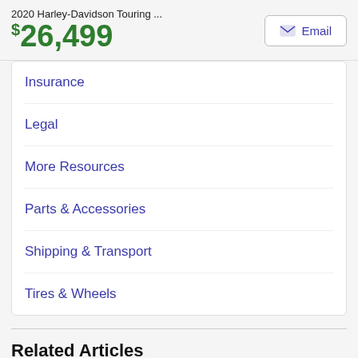2020 Harley-Davidson Touring ...
$26,499
Insurance
Legal
More Resources
Parts & Accessories
Shipping & Transport
Tires & Wheels
Related Articles
[Figure (photo): Photo of a motorcycle against a light blue sky background, partially visible at the bottom of the page.]